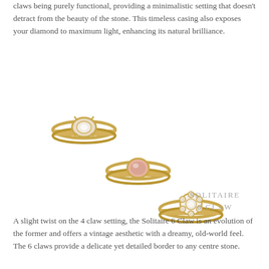claws being purely functional, providing a minimalistic setting that doesn't detract from the beauty of the stone. This timeless casing also exposes your diamond to maximum light, enhancing its natural brilliance.
[Figure (photo): Three gold solitaire rings arranged diagonally: top-left ring with a clear/diamond stone in a 4-claw setting, middle ring with a pink/rose oval stone, bottom-right ring with a white floral multi-claw setting. All three rings have thin gold bands.]
SOLITAIRE
6 CLAW
A slight twist on the 4 claw setting, the Solitaire 6 Claw is an evolution of the former and offers a vintage aesthetic with a dreamy, old-world feel. The 6 claws provide a delicate yet detailed border to any centre stone.